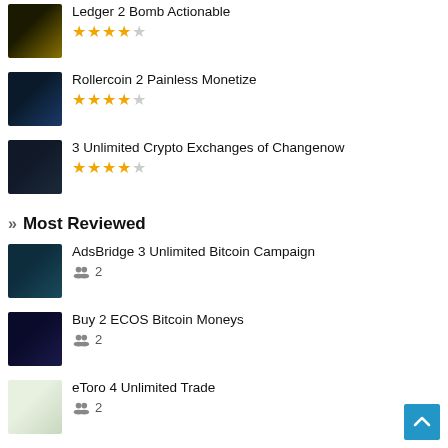Ledger 2 Bomb Actionable
Rollercoin 2 Painless Monetize
3 Unlimited Crypto Exchanges of Changenow
Most Reviewed
AdsBridge 3 Unlimited Bitcoin Campaign
Buy 2 ECOS Bitcoin Moneys
eToro 4 Unlimited Trade
6 DualMine Easy Steps